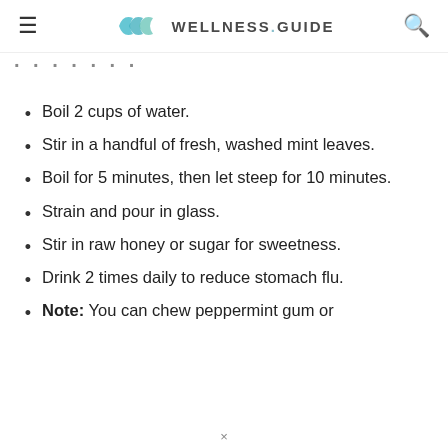WELLNESS.GUIDE
Process:
Boil 2 cups of water.
Stir in a handful of fresh, washed mint leaves.
Boil for 5 minutes, then let steep for 10 minutes.
Strain and pour in glass.
Stir in raw honey or sugar for sweetness.
Drink 2 times daily to reduce stomach flu.
Note: You can chew peppermint gum or